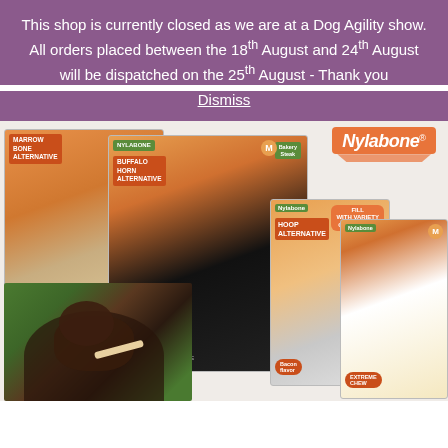This shop is currently closed as we are at a Dog Agility show. All orders placed between the 18th August and 24th August will be dispatched on the 25th August - Thank you
Dismiss
[Figure (photo): Collage of Nylabone dog chew toy products including Marrow Bone Alternative, Buffalo Horn Alternative, Hoop Alternative, and Extreme Chew, plus a photo of a brown Labrador dog holding a chew toy in its mouth outdoors on grass. Nylabone logo visible top right.]